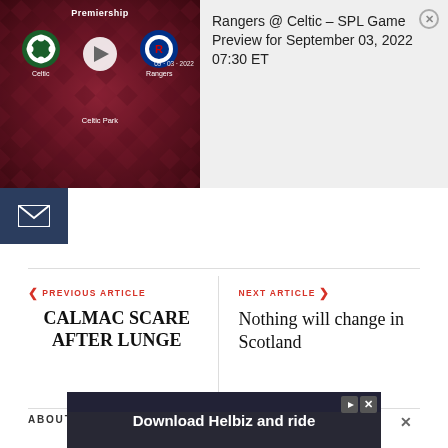[Figure (screenshot): Video preview card showing a Scottish Premiership match between Celtic and Rangers at Celtic Park, with play button overlay]
Rangers @ Celtic – SPL Game Preview for September 03, 2022 07:30 ET
PREVIOUS ARTICLE
CALMAC SCARE AFTER LUNGE
NEXT ARTICLE
Nothing will change in Scotland
ABOUT AUTHOR
[Figure (screenshot): Advertisement banner: Download Helbiz and ride]